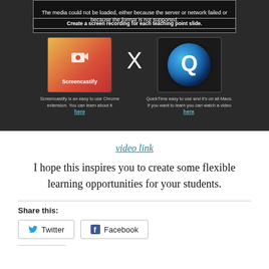[Figure (screenshot): Screenshot of a webpage showing a video embed (failed to load) with a slide labeled 'Create a screen recording for each teaching point slide.' Below are two columns: left shows Screencastify logo (red/orange gradient with camera icon and text), right shows QuickTime icon (blue circular Q logo), separated by a white X. Screencastify described as easy-to-use Chrome extension with a 'here' link; QuickTime described as easy to use on all Macs with a 'here' link.]
video link
I hope this inspires you to create some flexible learning opportunities for your students.
Share this:
Twitter
Facebook